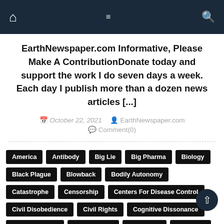Navigation bar with home, menu, and search icons
EarthNewspaper.com Informative, Please Make A ContributionDonate today and support the work I do seven days a week. Each day I publish more than a dozen news articles [...]
October 22, 2021   EarthNewspaper.com   Comment(0)
America Antibody Big Lie Big Pharma Biology Black Plague Blowback Bodily Autonomy Catastrophe Censorship Centers For Disease Control Civil Disobedience Civil Rights Cognitive Dissonance Consciousness Corporations Corruption COVID-19 Crimes Crimes Against Humanity Crony Capitalism Deep State Direct Actions Divide And Conquer DNA / mRNA Injection